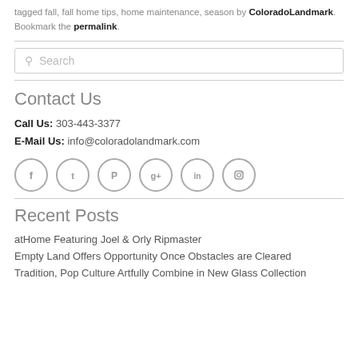tagged fall, fall home tips, home maintenance, season by ColoradoLandmark. Bookmark the permalink.
Contact Us
Call Us: 303-443-3377
E-Mail Us: info@coloradolandmark.com
[Figure (illustration): Six social media icon circles: Facebook, Twitter, Pinterest, Google+, LinkedIn, Instagram]
Recent Posts
atHome Featuring Joel & Orly Ripmaster
Empty Land Offers Opportunity Once Obstacles are Cleared
Tradition, Pop Culture Artfully Combine in New Glass Collection